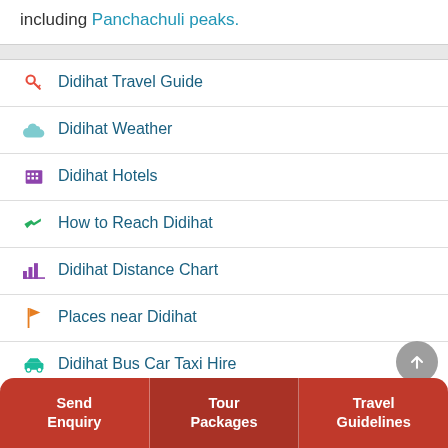including Panchachuli peaks.
Didihat Travel Guide
Didihat Weather
Didihat Hotels
How to Reach Didihat
Didihat Distance Chart
Places near Didihat
Didihat Bus Car Taxi Hire
Didihat FAQs
Didihat Photos